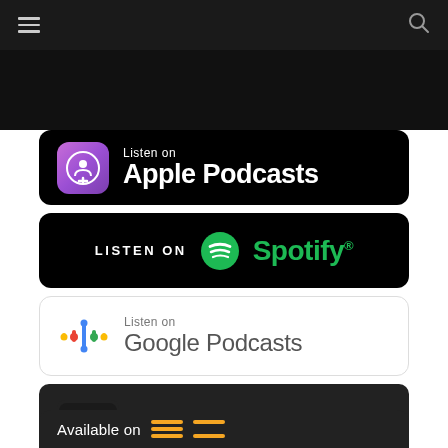Navigation header bar with hamburger menu and search icon
[Figure (screenshot): Dark banner / video thumbnail area at top]
[Figure (logo): Listen on Apple Podcasts badge — black rounded rectangle with purple podcast icon and white text]
[Figure (logo): Listen on Spotify badge — black rounded rectangle with green Spotify logo and green text]
[Figure (logo): Listen on Google Podcasts badge — white rounded rectangle with colorful Google Podcasts icon and gray text]
[Figure (logo): YouTube badge — dark rounded rectangle with play button icon and YouTube wordmark]
[Figure (logo): Partial 'Available on' badge at bottom — dark rounded rectangle, partially visible]